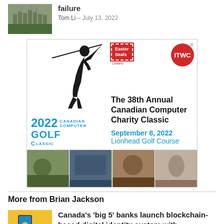[Figure (photo): Thumbnail image of a building (appears to be Parliament)]
failure
Tom Li - July 13, 2022
[Figure (infographic): Advertisement for 2022 Canadian Computer Golf Classic - 38th Annual Canadian Computer Charity Classic, September 8, 2022, Lionhead Golf Course. Features Easter Seals Ontario logo, ITWC logo, golfer silhouette, and four event photos at bottom.]
More from Brian Jackson
[Figure (photo): Thumbnail image for article about Canada's big 5 banks blockchain]
Canada's 'big 5' banks launch blockchain-based digital identity system with...